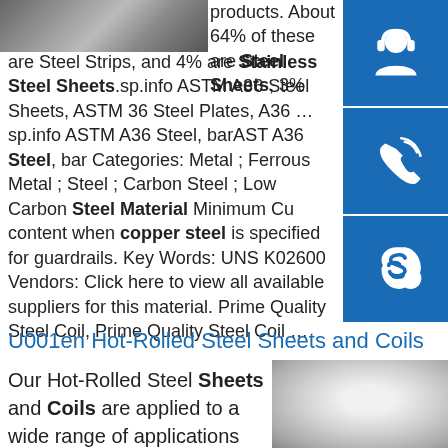[Figure (photo): Photo of steel sheets/plates stacked, top-left corner]
products. About 64% of these are Steel Sheets, 3% are Steel Strips, and 4% are Stainless Steel Sheets.sp.info ASTM A36 Steel Sheets, ASTM 36 Steel Plates, A36 …sp.info ASTM A36 Steel, barAST A36 Steel, bar Categories: Metal ; Ferrous Metal ; Steel ; Carbon Steel ; Low Carbon Steel Material Minimum Cu content when copper steel is specified for guardrails. Key Words: UNS K02600 Vendors: Click here to view all available suppliers for this material. Prime Quality Steel Coil, Prime Quality Steel Coil …
[Figure (photo): Headset/customer support icon on blue background]
[Figure (photo): Phone/call icon on blue background]
[Figure (photo): Skype icon on blue background]
U001en Hot-Rolled Steel Sheets and Coils
Our Hot-Rolled Steel Sheets and Coils are applied to a wide range of applications such as, automobiles, electrical appliances, construction materials,
[Figure (photo): Photo of hot-rolled steel sheet, bottom-right]